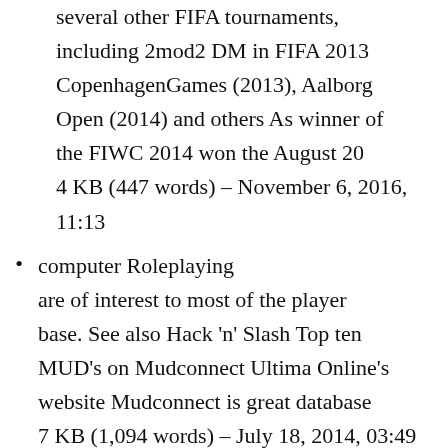several other FIFA tournaments, including 2mod2 DM in FIFA 2013 CopenhagenGames (2013), Aalborg Open (2014) and others As winner of the FIWC 2014 won the August 20 4 KB (447 words) – November 6, 2016, 11:13
computer Roleplaying are of interest to most of the player base. See also Hack 'n' Slash Top ten MUD's on Mudconnect Ultima Online's website Mudconnect is great database 7 KB (1,094 words) – July 18, 2014, 03:49
Cripples, Bastards, and Broken Things